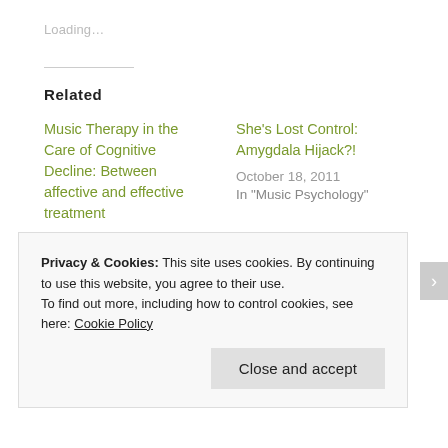Loading…
Related
Music Therapy in the Care of Cognitive Decline: Between affective and effective treatment
April 30, 2014
In "Music"
She's Lost Control: Amygdala Hijack?!
October 18, 2011
In "Music Psychology"
Privacy & Cookies: This site uses cookies. By continuing to use this website, you agree to their use.
To find out more, including how to control cookies, see here: Cookie Policy
Close and accept